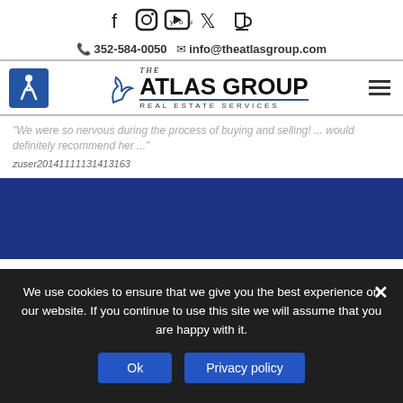[Figure (infographic): Social media icons row: Facebook, Instagram, YouTube, Twitter, coffee cup icon]
📞 352-584-0050   ✉ info@theatlasgroup.com
[Figure (logo): The Atlas Group Real Estate Services logo with accessibility icon and hamburger menu]
"We were so nervous during the process of buying and selling! ... would definitely recommend her ..."
zuser20141111131413163
[Figure (other): Dark blue band/section background]
We use cookies to ensure that we give you the best experience on our website. If you continue to use this site we will assume that you are happy with it.
Ok   Privacy policy